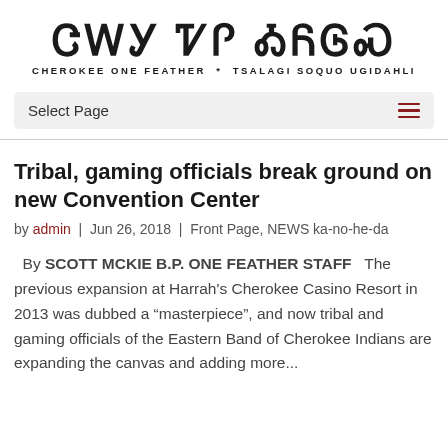ᏣᎳᎩ ᏤᎵ ᎣᏲᎶᏍ / CHEROKEE ONE FEATHER * TSALAGI SOQUO UGIDAHLI
Select Page
Tribal, gaming officials break ground on new Convention Center
by admin | Jun 26, 2018 | Front Page, NEWS ka-no-he-da
By SCOTT MCKIE B.P. ONE FEATHER STAFF   The previous expansion at Harrah's Cherokee Casino Resort in 2013 was dubbed a “masterpiece”, and now tribal and gaming officials of the Eastern Band of Cherokee Indians are expanding the canvas and adding more...